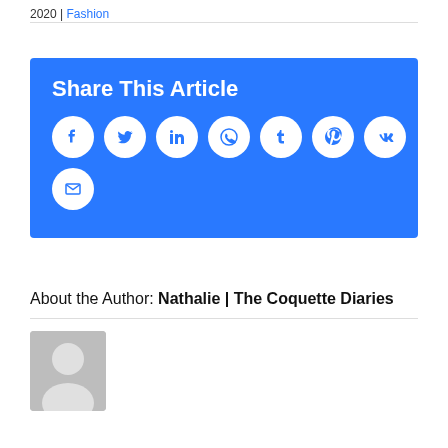2020 | Fashion
[Figure (infographic): Share This Article social media buttons box with blue background. Icons: Facebook, Twitter, LinkedIn, WhatsApp, Tumblr, Pinterest, VK, and Email.]
About the Author: Nathalie | The Coquette Diaries
[Figure (photo): Grey placeholder avatar image of a person silhouette]